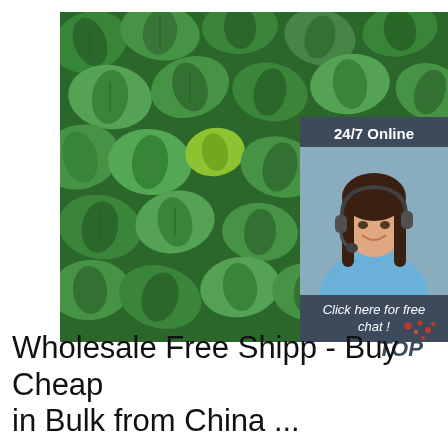[Figure (photo): Close-up photo of green mint leaves filling the frame, with a customer service chat widget overlay in the top-right corner showing '24/7 Online', a woman with a headset, 'Click here for free chat!' text, and an orange 'QUOTATION' button. A 'TOP' logo watermark appears at the bottom-right of the image.]
Wholesale Free Shipp - Buy Cheap in Bulk from China ...